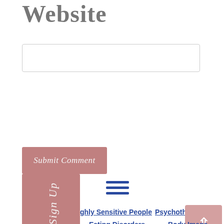Website
[Figure (screenshot): A text input box (comment/website field) with a light border]
[Figure (screenshot): A mauve/rose-colored 'Submit Comment' button with italic cursive text]
[Figure (screenshot): A vertical mauve sidebar button labeled 'Sign Up' in cursive italic text, with a thumbs-down icon at the bottom]
[Figure (screenshot): A hamburger menu icon (three horizontal blue lines)]
ghly Sensitive People
Psychotherapy
[Figure (screenshot): A pink/mauve back-to-top button with an upward arrow]
Eating Disorders
Body Image